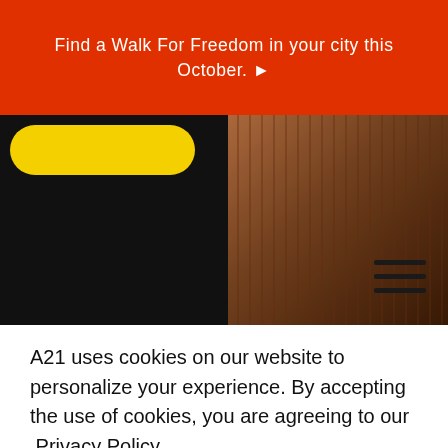Find a Walk For Freedom in your city this October. ▶
[Figure (photo): Partial view of a website hero section showing a yellow pill-shaped button on a dark background, with a person wearing a brown textured outfit on the right side. A hamburger menu icon is visible in the upper right.]
A21 uses cookies on our website to personalize your experience. By accepting the use of cookies, you are agreeing to our Privacy Policy
Accept